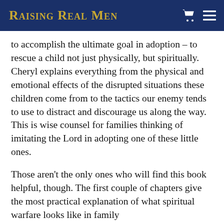Raising Real Men
to accomplish the ultimate goal in adoption – to rescue a child not just physically, but spiritually. Cheryl explains everything from the physical and emotional effects of the disrupted situations these children come from to the tactics our enemy tends to use to distract and discourage us along the way. This is wise counsel for families thinking of imitating the Lord in adopting one of these little ones.
Those aren't the only ones who will find this book helpful, though. The first couple of chapters give the most practical explanation of what spiritual warfare looks like in family